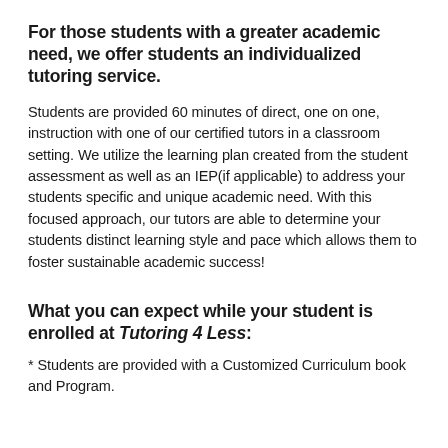For those students with a greater academic need, we offer students an individualized tutoring service.
Students are provided 60 minutes of direct, one on one, instruction with one of our certified tutors in a classroom setting. We utilize the learning plan created from the student assessment as well as an IEP(if applicable) to address your students specific and unique academic need. With this focused approach, our tutors are able to determine your students distinct learning style and pace which allows them to foster sustainable academic success!
What you can expect while your student is enrolled at Tutoring 4 Less:
* Students are provided with a Customized Curriculum book and Program.